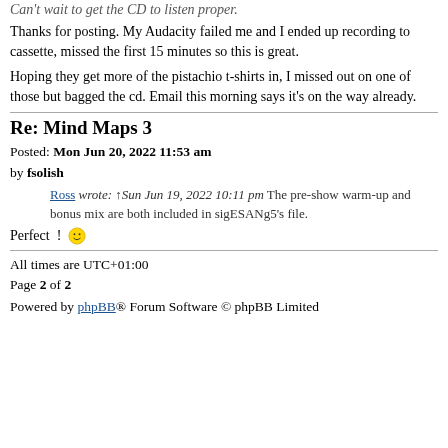Can't wait to get the CD to listen proper.
Thanks for posting. My Audacity failed me and I ended up recording to cassette, missed the first 15 minutes so this is great.
Hoping they get more of the pistachio t-shirts in, I missed out on one of those but bagged the cd. Email this morning says it's on the way already.
Re: Mind Maps 3
Posted: Mon Jun 20, 2022 11:53 am
by fsolish
Ross wrote: ↑Sun Jun 19, 2022 10:11 pm The pre-show warm-up and bonus mix are both included in sigESANg5's file.
Perfect ! 😊
All times are UTC+01:00
Page 2 of 2
Powered by phpBB® Forum Software © phpBB Limited